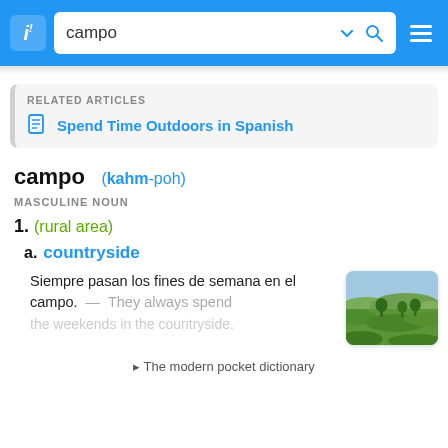campo
RELATED ARTICLES
Spend Time Outdoors in Spanish
campo  (kahm-poh)
MASCULINE NOUN
1. (rural area)
a. countryside
Siempre pasan los fines de semana en el campo.  —  They always spend
[Figure (photo): Green rolling countryside hills with trees under a light blue sky]
▸ The modern pocket dictionary